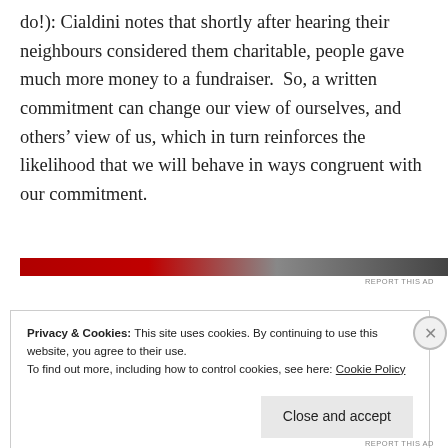do!): Cialdini notes that shortly after hearing their neighbours considered them charitable, people gave much more money to a fundraiser.  So, a written commitment can change our view of ourselves, and others' view of us, which in turn reinforces the likelihood that we will behave in ways congruent with our commitment.
[Figure (other): Advertisement bar — red and dark gradient horizontal banner with 'REPORT THIS AD' label]
Privacy & Cookies: This site uses cookies. By continuing to use this website, you agree to their use.
To find out more, including how to control cookies, see here: Cookie Policy
Close and accept